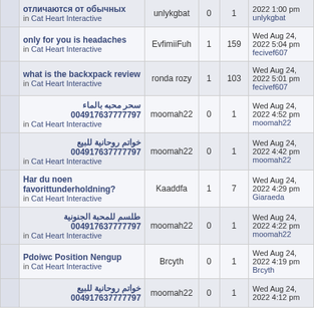|  | Topic | Author | Replies | Views | Last Post |
| --- | --- | --- | --- | --- | --- |
|  | отличаются от обычных
in Cat Heart Interactive | unlykgbat | 0 | 1 | 2022 1:00 pm
unlykgbat |
|  | only for you is headaches
in Cat Heart Interactive | EvfimiiFuh | 1 | 159 | Wed Aug 24, 2022 5:04 pm
fecivef607 |
|  | what is the backxpack review
in Cat Heart Interactive | ronda rozy | 1 | 103 | Wed Aug 24, 2022 5:01 pm
fecivef607 |
|  | سحر محبه بالماء 004917637777797
in Cat Heart Interactive | moomah22 | 0 | 1 | Wed Aug 24, 2022 4:52 pm
moomah22 |
|  | خواتم روحانية للبيع 004917637777797
in Cat Heart Interactive | moomah22 | 0 | 1 | Wed Aug 24, 2022 4:42 pm
moomah22 |
|  | Har du noen favorittunderholdning?
in Cat Heart Interactive | Kaaddfa | 1 | 7 | Wed Aug 24, 2022 4:29 pm
Giaraeda |
|  | طلسم للمحبة الجنونية 004917637777797
in Cat Heart Interactive | moomah22 | 0 | 1 | Wed Aug 24, 2022 4:22 pm
moomah22 |
|  | Pdoiwc Position Nengup
in Cat Heart Interactive | Brcyth | 0 | 1 | Wed Aug 24, 2022 4:19 pm
Brcyth |
|  | خواتم روحانية للبيع 004917637777797 | moomah22 | 0 | 1 | Wed Aug 24, 2022 4:12 pm |